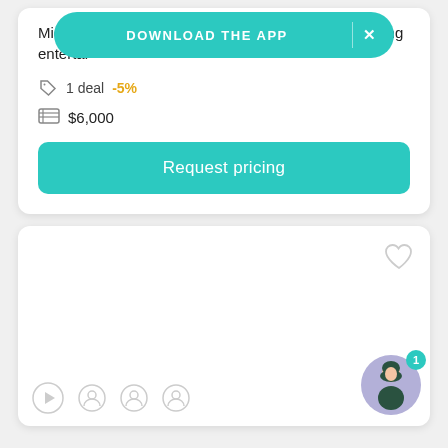Michigan, specializing in personalized and fun wedding entertainment
DOWNLOAD THE APP  ×
1 deal  -5%
$6,000
Request pricing
[Figure (screenshot): Empty white card area with a heart/favorite icon in the top right corner, a chat avatar with notification badge (1) in the bottom right, and a play button icon in the bottom left. Appears to be a vendor listing card on a wedding marketplace app.]